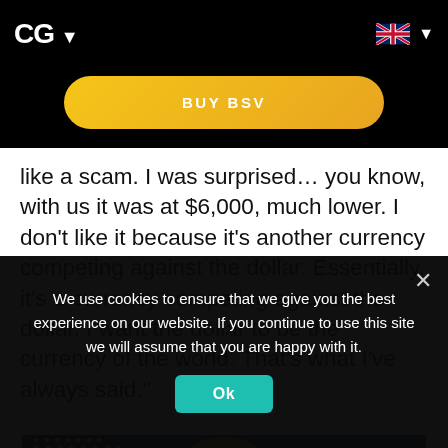CG ▾
BUY BSV
like a scam. I was surprised… you know, with us it was at $6,000, much lower. I don't like it because it's another currency competing against the dollar. Essentially, it's a currency competing against the dollar. I want the dollar to be the currency of the world. That's what I've always said."
[Figure (photo): Photo of a person in front of a row of American flags with stars and stripes pattern visible]
We use cookies to ensure that we give you the best experience on our website. If you continue to use this site we will assume that you are happy with it.